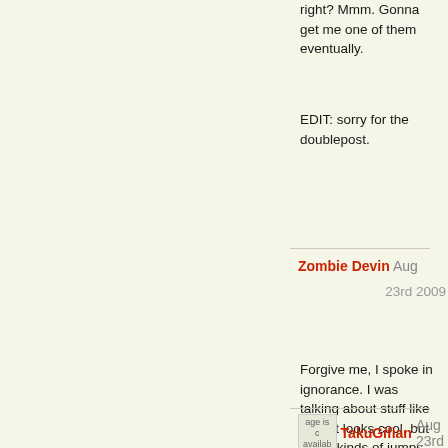right? Mmm. Gonna get me one of them eventually.
EDIT: sorry for the doublepost.
Zombie Devin Aug 23rd 2009
Forgive me, I spoke in ignorance. I was talking about stuff like this , it looks cool, but those kinds of jumps, spins, and twists are what get you killed.
TakuGifian Aug 23rd